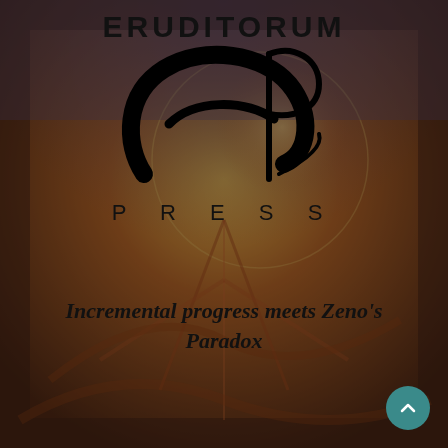[Figure (illustration): Background artwork showing a William Blake-style painting of a muscular figure reaching downward, with warm orange, brown, and yellow tones, overlaid with a semi-transparent dark vignette.]
ERUDITORUM
[Figure (logo): Eruditorum Press logo: a stylized italic 'EP' monogram in black calligraphic script.]
PRESS
Incremental progress meets Zeno's Paradox